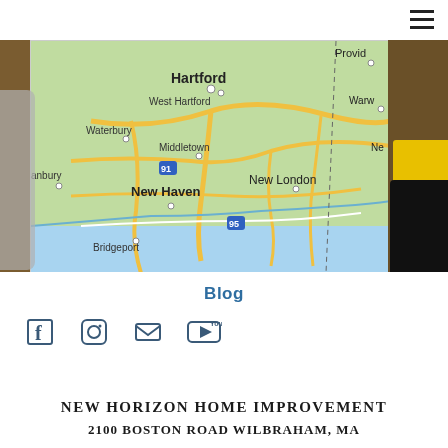[Figure (screenshot): Navigation bar with hamburger menu icon in top-right corner]
[Figure (map): Map of Connecticut showing cities including Hartford, West Hartford, Waterbury, Middletown, New Haven, New London, Bridgeport, and partial views of Providence and Warwick (RI), with highway routes including I-91 and I-95. Background shows tools and hardware items.]
Blog
[Figure (infographic): Social media icons: Facebook, Instagram, Email, YouTube]
NEW HORIZON HOME IMPROVEMENT
2100 BOSTON ROAD WILBRAHAM, MA